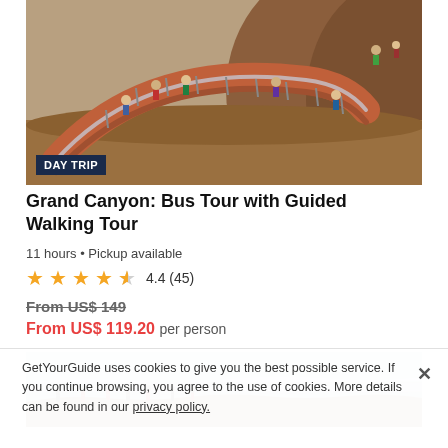[Figure (photo): Aerial view of Grand Canyon Skywalk glass bridge with tourists walking, reddish canyon walls visible]
Grand Canyon: Bus Tour with Guided Walking Tour
11 hours • Pickup available
4.4 (45) stars rating
From US$ 149 (strikethrough)
From US$ 119.20 per person
[Figure (photo): Group of tourists standing on rocky cliff overlooking the Grand Canyon with layered canyon walls in background]
GetYourGuide uses cookies to give you the best possible service. If you continue browsing, you agree to the use of cookies. More details can be found in our privacy policy.